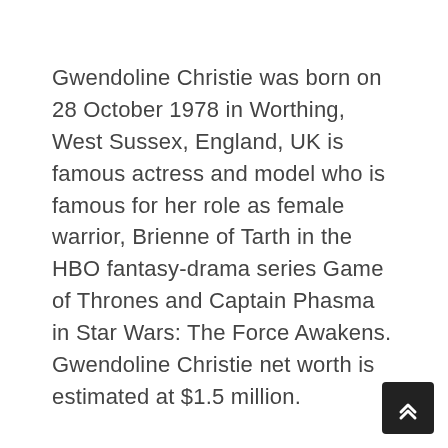Gwendoline Christie was born on 28 October 1978 in Worthing, West Sussex, England, UK is famous actress and model who is famous for her role as female warrior, Brienne of Tarth in the HBO fantasy-drama series Game of Thrones and Captain Phasma in Star Wars: The Force Awakens. Gwendoline Christie net worth is estimated at $1.5 million.